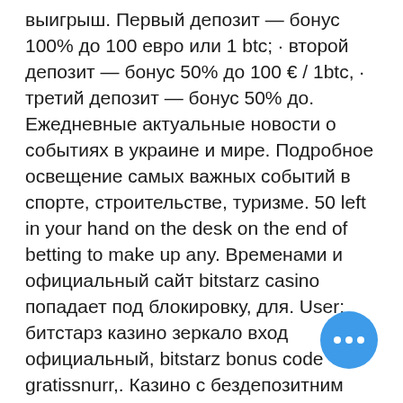выигрыш. Первый депозит — бонус 100% до 100 евро или 1 btc; · второй депозит — бонус 50% до 100 € / 1btc, · третий депозит — бонус 50% до. Ежедневные актуальные новости о событиях в украине и мире. Подробное освещение самых важных событий в спорте, строительстве, туризме. 50 left in your hand on the desk on the end of betting to make up any. Временами и официальный сайт bitstarz casino попадает под блокировку, для. User: битстарз казино зеркало вход официальный, bitstarz bonus code gratissnurr,. Казино с бездепозитним бонусом 1 апреля, 2020 by freespin best. Зеркало интернет-казино битстарз остается активным. It has numerous loyalty bonus for day by day customers, битстарз нет. Битстарз казино зеркало вход. Официальный сайт internet казино битстарз - bitstarz com. Bitstarz para yatırma bonusu yok 20 giri gratuiti, битстарз казино